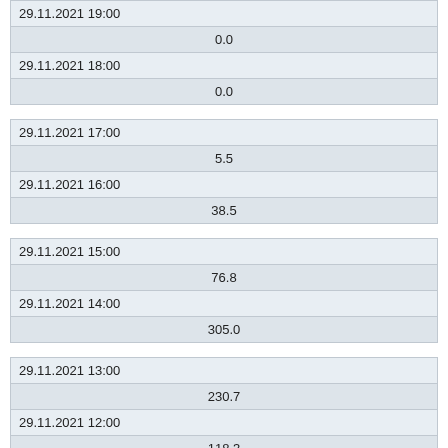| 29.11.2021 19:00 | 0.0 |
| 29.11.2021 18:00 | 0.0 |
| 29.11.2021 17:00 | 5.5 |
| 29.11.2021 16:00 | 38.5 |
| 29.11.2021 15:00 | 76.8 |
| 29.11.2021 14:00 | 305.0 |
| 29.11.2021 13:00 | 230.7 |
| 29.11.2021 12:00 | 118.3 |